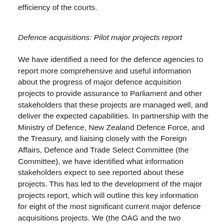efficiency of the courts.
Defence acquisitions: Pilot major projects report
We have identified a need for the defence agencies to report more comprehensive and useful information about the progress of major defence acquisition projects to provide assurance to Parliament and other stakeholders that these projects are managed well, and deliver the expected capabilities. In partnership with the Ministry of Defence, New Zealand Defence Force, and the Treasury, and liaising closely with the Foreign Affairs, Defence and Trade Select Committee (the Committee), we have identified what information stakeholders expect to see reported about these projects. This has led to the development of the major projects report, which will outline this key information for eight of the most significant current major defence acquisitions projects. We (the OAG and the two defence agencies) developed a pilot report on one of these projects and presented it to the Committee in late 2009. We will complete the first full major projects report